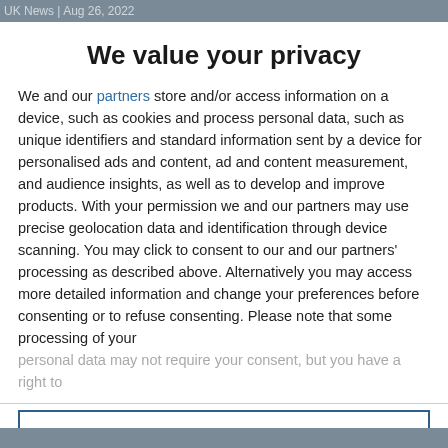UK News | Aug 26, 2022
We value your privacy
We and our partners store and/or access information on a device, such as cookies and process personal data, such as unique identifiers and standard information sent by a device for personalised ads and content, ad and content measurement, and audience insights, as well as to develop and improve products. With your permission we and our partners may use precise geolocation data and identification through device scanning. You may click to consent to our and our partners' processing as described above. Alternatively you may access more detailed information and change your preferences before consenting or to refuse consenting. Please note that some processing of your personal data may not require your consent, but you have a right to
AGREE
MORE OPTIONS